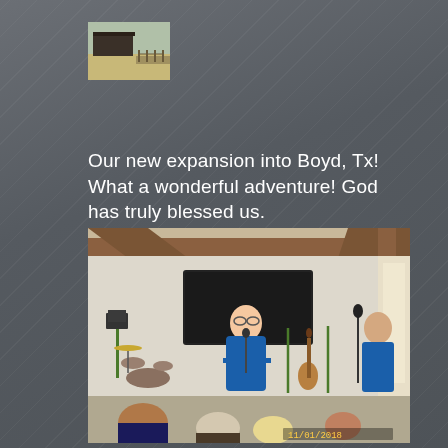[Figure (photo): Small thumbnail image showing an outdoor scene with a building and open land in Boyd, TX]
Our new expansion into Boyd, Tx! What a wonderful adventure! God has truly blessed us.
[Figure (photo): Interior photo of a church gathering space with wood beam ceiling, a large TV screen on the wall, a man in a blue shirt speaking at a microphone, another man in blue shirt on the right, musical instruments including guitars and drums, and several people seated in the foreground. Date stamp visible: 11/01/2018]